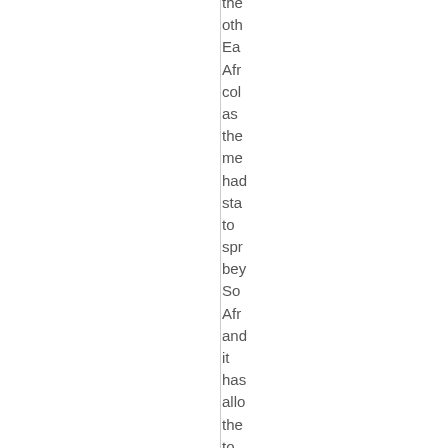the other East African colonies as the means had started to spread beyond South Africa and it has allowed the to get support that the